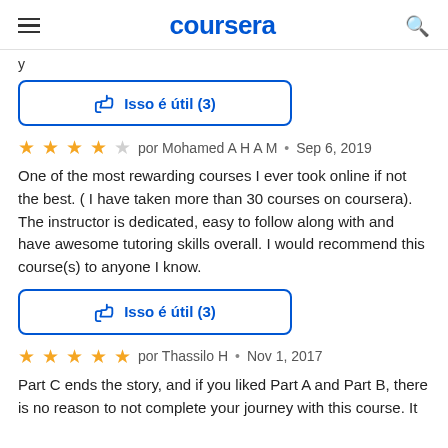coursera
y
[Figure (other): Blue outlined button with thumbs up icon: Isso é útil (3)]
por Mohamed A H A M  •  Sep 6, 2019
One of the most rewarding courses I ever took online if not the best. ( I have taken more than 30 courses on coursera). The instructor is dedicated, easy to follow along with and have awesome tutoring skills overall. I would recommend this course(s) to anyone I know.
[Figure (other): Blue outlined button with thumbs up icon: Isso é útil (3)]
por Thassilo H  •  Nov 1, 2017
Part C ends the story, and if you liked Part A and Part B, there is no reason to not complete your journey with this course. It